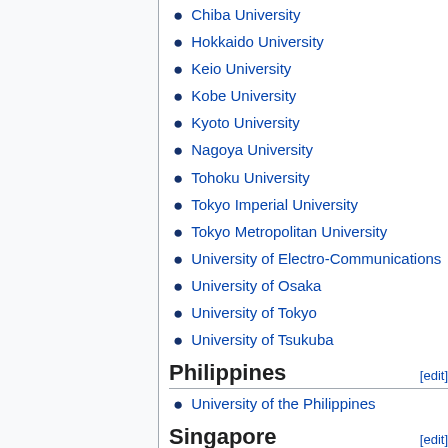Chiba University
Hokkaido University
Keio University
Kobe University
Kyoto University
Nagoya University
Tohoku University
Tokyo Imperial University
Tokyo Metropolitan University
University of Electro-Communications
University of Osaka
University of Tokyo
University of Tsukuba
Philippines
University of the Philippines
Singapore
Nanyang Technological University
National University of Singapore
South Korea
Chonnam National University